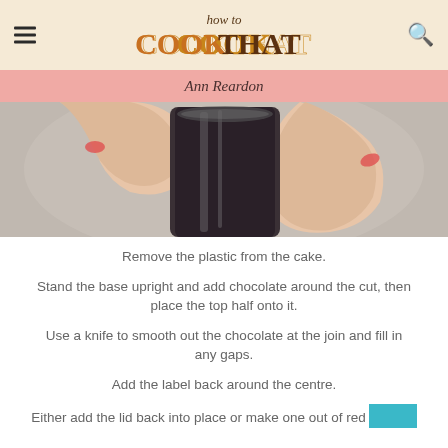how to COOK THAT
Ann Reardon
[Figure (photo): Close-up of hands peeling transparent plastic wrap from a cylindrical chocolate cake mold]
Remove the plastic from the cake.
Stand the base upright and add chocolate around the cut, then place the top half onto it.
Use a knife to smooth out the chocolate at the join and fill in any gaps.
Add the label back around the centre.
Either add the lid back into place or make one out of red